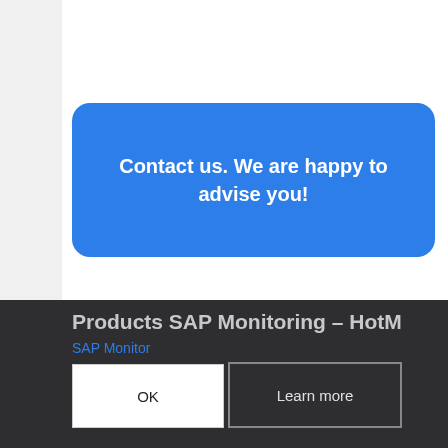Contact us. We are happy to advise you!
Products SAP Mail – MailCenter
SAP Mail
Products SAP Monitoring – HotM
SAP Monitor
OK
Learn more